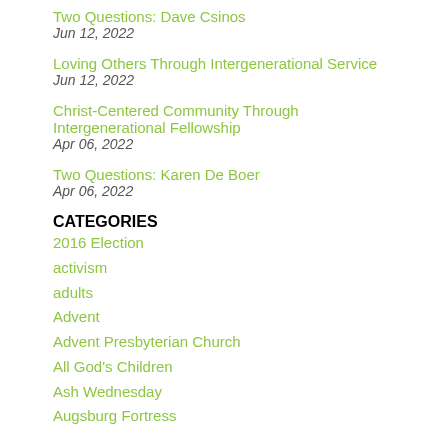Two Questions: Dave Csinos
Jun 12, 2022
Loving Others Through Intergenerational Service
Jun 12, 2022
Christ-Centered Community Through Intergenerational Fellowship
Apr 06, 2022
Two Questions: Karen De Boer
Apr 06, 2022
CATEGORIES
2016 Election
activism
adults
Advent
Advent Presbyterian Church
All God's Children
Ash Wednesday
Augsburg Fortress